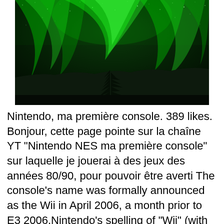[Figure (photo): Night sky photograph showing northern lights (aurora borealis) in green over a dark silhouetted spruce tree and hillside landscape.]
Nintendo, ma première console. 389 likes. Bonjour, cette page pointe sur la chaîne YT "Nintendo NES ma première console" sur laquelle je jouerai à des jeux des années 80/90, pour pouvoir être averti The console's name was formally announced as the Wii in April 2006, a month prior to E3 2006.Nintendo's spelling of "Wii" (with two lower-case "i" characters) was intended to represent both two people standing side-by-side, and the Wii Remote and its Nunchuk.